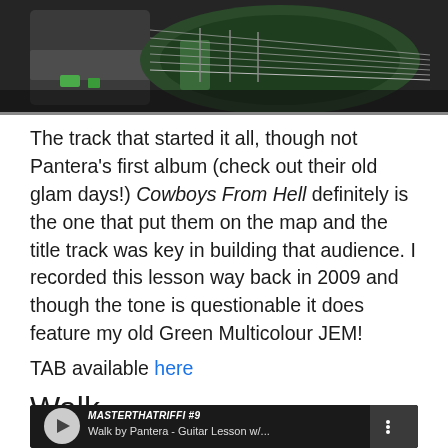[Figure (photo): Person playing an electric guitar (green multicolour JEM), close-up of hands on fretboard]
The track that started it all, though not Pantera's first album (check out their old glam days!) Cowboys From Hell definitely is the one that put them on the map and the title track was key in building that audience. I recorded this lesson way back in 2009 and though the tone is questionable it does feature my old Green Multicolour JEM!
TAB available here
Walk
[Figure (screenshot): YouTube video thumbnail showing 'MASTERTHATRIFFI #9 Walk by Pantera - Guitar Lesson w/...' with a circular channel icon on the left and three-dot menu on the right]